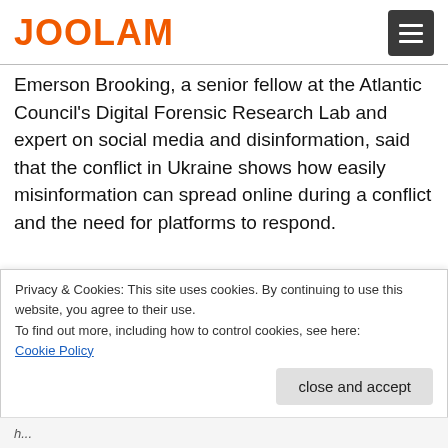JOOLAM
Emerson Brooking, a senior fellow at the Atlantic Council's Digital Forensic Research Lab and expert on social media and disinformation, said that the conflict in Ukraine shows how easily misinformation can spread online during a conflict and the need for platforms to respond.
Privacy & Cookies: This site uses cookies. By continuing to use this website, you agree to their use.
To find out more, including how to control cookies, see here:
Cookie Policy
close and accept